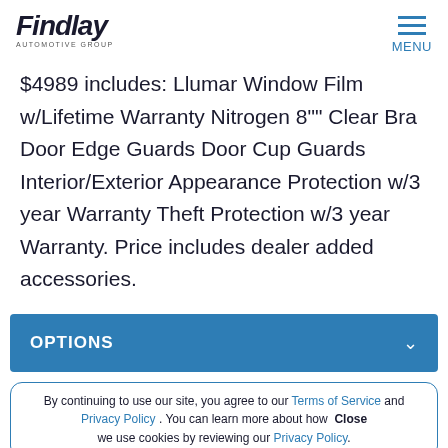Findlay Automotive Group — MENU
$4989 includes: Llumar Window Film w/Lifetime Warranty Nitrogen 8"" Clear Bra Door Edge Guards Door Cup Guards Interior/Exterior Appearance Protection w/3 year Warranty Theft Protection w/3 year Warranty. Price includes dealer added accessories.
OPTIONS
By continuing to use our site, you agree to our Terms of Service and Privacy Policy . You can learn more about how we use cookies by reviewing our Privacy Policy. Close